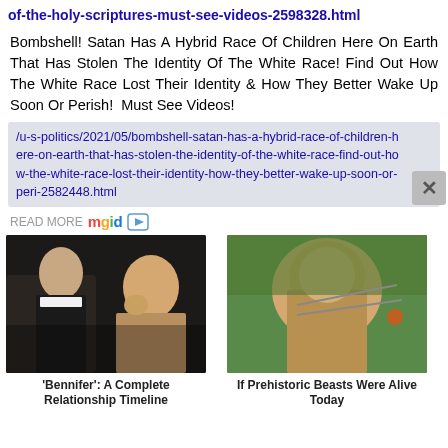of-the-holy-scriptures-must-see-videos-2598328.html
Bombshell! Satan Has A Hybrid Race Of Children Here On Earth That Has Stolen The Identity Of The White Race! Find Out How The White Race Lost Their Identity & How They Better Wake Up Soon Or Perish!  Must See Videos!
/u-s-politics/2021/05/bombshell-satan-has-a-hybrid-race-of-children-here-on-earth-that-has-stolen-the-identity-of-the-white-race-find-out-how-the-white-race-lost-their-identity-how-they-better-wake-up-soon-or-peri-2582448.html
READ MORE mgid
[Figure (photo): Photo of two people at a formal event - a man in a tuxedo and a woman in a low-cut dress]
'Bennifer': A Complete Relationship Timeline
[Figure (photo): Photo of a smiling man holding what appears to be an insect or dragonfly outdoors]
If Prehistoric Beasts Were Alive Today